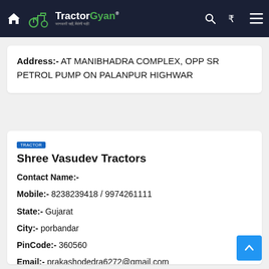TractorGyan - जानकारी सही, मिलेगी यही!
Address:- AT MANIBHADRA COMPLEX, OPP SR PETROL PUMP ON PALANPUR HIGHWAR
Shree Vasudev Tractors
Contact Name:-
Mobile:- 8238239418 / 9974261111
State:- Gujarat
City:- porbandar
PinCode:- 360560
Email:- prakashodedra6272@gmail.com
Address:- GIDC, Near Police Station, Udhyognagar, Ashapura Chokdi